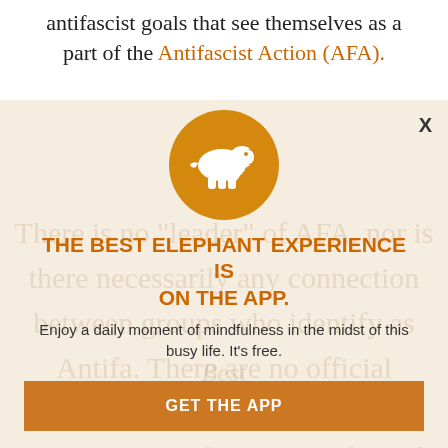antifascist goals that see themselves as a part of the Antifascist Action (AFA).
[Figure (infographic): App promotion modal popup with elephant logo circle, headline, subtext, and two buttons]
THE BEST ELEPHANT EXPERIENCE IS ON THE APP.
Enjoy a daily moment of mindfulness in the midst of this busy life. It's free.
GET THE APP
OPEN IN APP